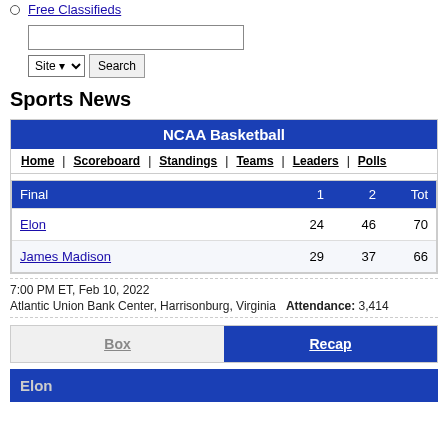Free Classifieds
Site  Search (search box and controls)
Sports News
NCAA Basketball
Home | Scoreboard | Standings | Teams | Leaders | Polls
| Final | 1 | 2 | Tot |
| --- | --- | --- | --- |
| Elon | 24 | 46 | 70 |
| James Madison | 29 | 37 | 66 |
7:00 PM ET, Feb 10, 2022
Atlantic Union Bank Center, Harrisonburg, Virginia  Attendance: 3,414
Box  Recap
Elon